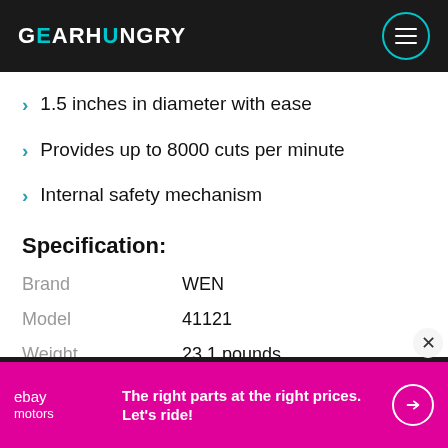GEARHUNGRY
1.5 inches in diameter with ease
Provides up to 8000 cuts per minute
Internal safety mechanism
Specification:
|  |  |
| --- | --- |
| Brand | WEN |
| Model | 41121 |
| Weight | 23.1 pounds |
[Figure (infographic): eBay Motors advertisement banner: magenta/pink background with ebay motors logo on left, text 'The right parts at the right prices. Let's ride!' in center, and a white circle arrow button on right.]